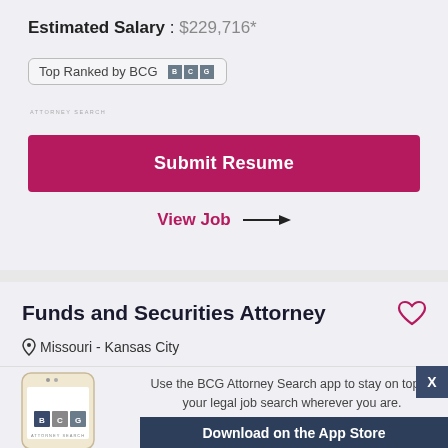Estimated Salary : $229,716*
[Figure (logo): Top Ranked by BCG badge with BCG Attorney Search logo]
Submit Resume
View Job →
Funds and Securities Attorney
Missouri - Kansas City
[Figure (illustration): Smartphone showing BCG Attorney Search app]
Use the BCG Attorney Search app to stay on top of your legal job search wherever you are.
Download on the App Store